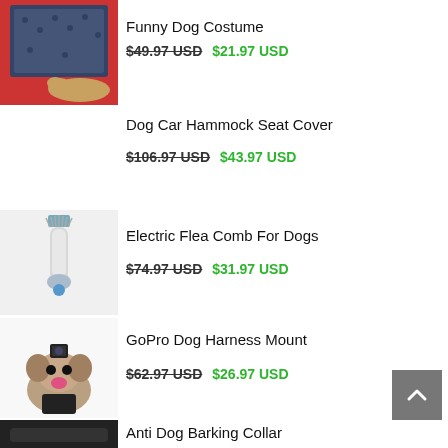[Figure (photo): Dog dressed in a police costume with sunglasses]
Funny Dog Costume
$49.97 USD  $21.97 USD
[Figure (photo): Dog car hammock seat cover installed in red car with golden retriever]
Dog Car Hammock Seat Cover
$106.97 USD  $43.97 USD
[Figure (photo): Electric flea comb device for dogs]
Electric Flea Comb For Dogs
$74.97 USD  $31.97 USD
[Figure (photo): Pug dog wearing GoPro dog harness mount]
GoPro Dog Harness Mount
$62.97 USD  $26.97 USD
[Figure (photo): Anti dog barking collar product image]
Anti Dog Barking Collar